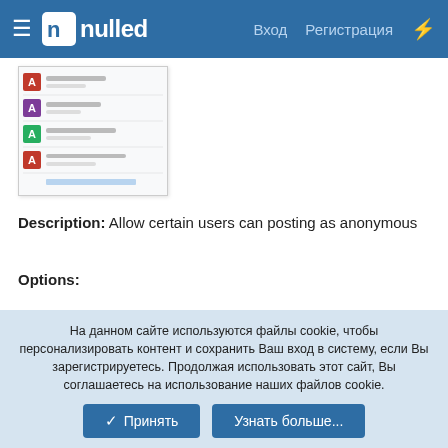nulled — Вход  Регистрация
[Figure (screenshot): Screenshot thumbnail of a forum/list interface showing user avatars and content rows]
Description: Allow certain users can posting as anonymous
Options:
Assign anonymous to specific user
Show/hide anonymous random ID
Permissions: There 2 permissions in section Forum
На данном сайте используются файлы cookie, чтобы персонализировать контент и сохранить Ваш вход в систему, если Вы зарегистрируетесь. Продолжая использовать этот сайт, Вы соглашаетесь на использование наших файлов cookie.